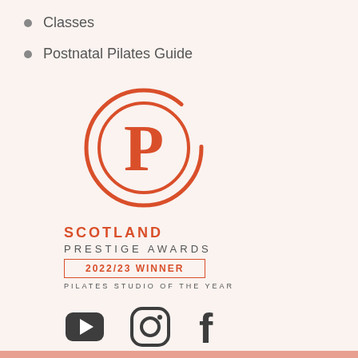Classes
Postnatal Pilates Guide
[Figure (logo): Scotland Prestige Awards logo with circular P emblem in orange. Text: SCOTLAND PRESTIGE AWARDS, 2022/23 WINNER, PILATES STUDIO OF THE YEAR]
[Figure (infographic): Three social media icons: YouTube, Instagram, Facebook in dark grey]